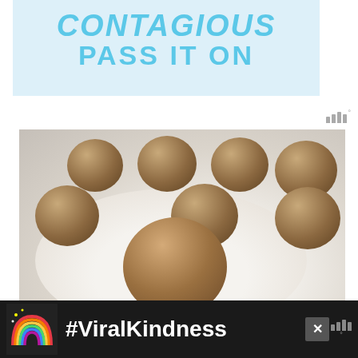[Figure (illustration): Light blue advertisement banner with bold cyan/blue text reading 'CONTAGIOUS PASS IT ON' (top portion partially cut off)]
[Figure (photo): Close-up photo of multiple round energy/protein balls or truffles on a white plate, textured brown surface, on a light background]
[Figure (logo): Millennial media logo — three vertical bars of increasing height with a degree symbol superscript]
[Figure (infographic): Dark advertisement banner at bottom showing a rainbow illustration, bold white text '#ViralKindness', close button X, and Millennial media logo]